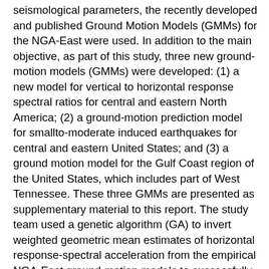seismological parameters, the recently developed and published Ground Motion Models (GMMs) for the NGA-East were used. In addition to the main objective, as part of this study, three new ground-motion models (GMMs) were developed: (1) a new model for vertical to horizontal response spectral ratios for central and eastern North America; (2) a ground-motion prediction model for smallto-moderate induced earthquakes for central and eastern United States; and (3) a ground motion model for the Gulf Coast region of the United States, which includes part of West Tennessee. These three GMMs are presented as supplementary material to this report. The study team used a genetic algorithm (GA) to invert weighted geometric mean estimates of horizontal response-spectral acceleration from the empirical NGA-East ground-motion models to successfully estimate a consistent set of seismological parameters that can be used along with an equivalent point-source stochastic model to mimic the general scaling characteristics of these ground-motion models. The inversion is performed for events of M 4 – 8.0, RRUP = 1 to 300 km, T = 0.01 – 10 sec (f = 0.1 – 10 Hz). This study is the first to perform a formal inversion using the extensive and peer-reviewed CENA GMMs developed